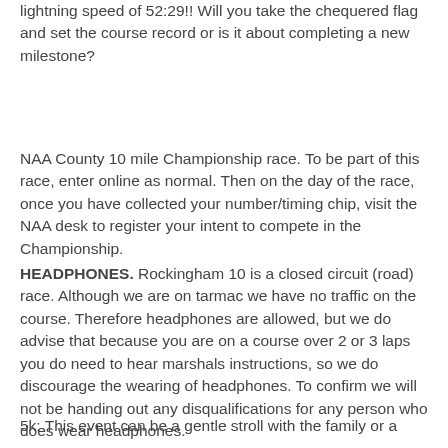lightning speed of 52:29!! Will you take the chequered flag and set the course record or is it about completing a new milestone?
NAA County 10 mile Championship race. To be part of this race, enter online as normal. Then on the day of the race, once you have collected your number/timing chip, visit the NAA desk to register your intent to compete in the Championship.
HEADPHONES. Rockingham 10 is a closed circuit (road) race. Although we are on tarmac we have no traffic on the course. Therefore headphones are allowed, but we do advise that because you are on a course over 2 or 3 laps you do need to hear marshals instructions, so we do discourage the wearing of headphones. To confirm we will not be handing out any disqualifications for any person who does wear headphones.
5k: This event can be a gentle stroll with the family or a competitive run. No age restrictions in the last...